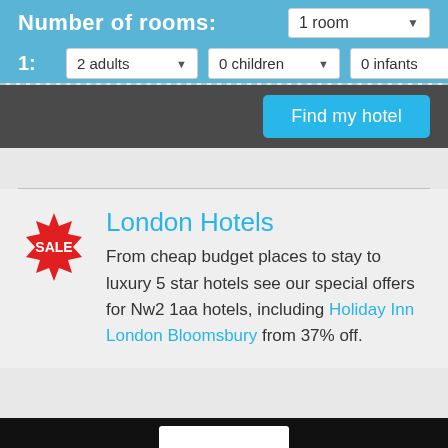Number of rooms:
1 room
1:
2 adults
0 children
0 infants
Find my hotel
London Hotels
From cheap budget places to stay to luxury 5 star hotels see our special offers for Nw2 1aa hotels, including Holiday Inn London Bloomsbury from 37% off.